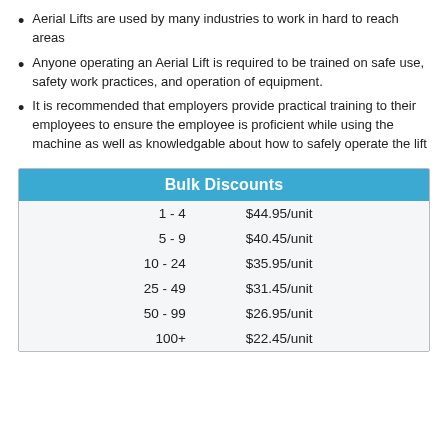Aerial Lifts are used by many industries to work in hard to reach areas
Anyone operating an Aerial Lift is required to be trained on safe use, safety work practices, and operation of equipment.
It is recommended that employers provide practical training to their employees to ensure the employee is proficient while using the machine as well as knowledgable about how to safely operate the lift
| Bulk Discounts |  |
| --- | --- |
| 1 - 4 | $44.95/unit |
| 5 - 9 | $40.45/unit |
| 10 - 24 | $35.95/unit |
| 25 - 49 | $31.45/unit |
| 50 - 99 | $26.95/unit |
| 100+ | $22.45/unit |